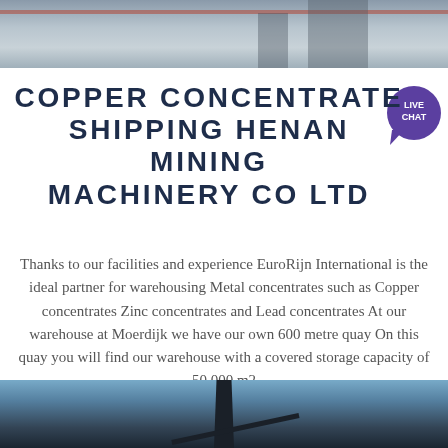[Figure (photo): Top photo showing an industrial/warehouse setting with people and equipment]
COPPER CONCENTRATE SHIPPING HENAN MINING MACHINERY CO LTD
Thanks to our facilities and experience EuroRijn International is the ideal partner for warehousing Metal concentrates such as Copper concentrates Zinc concentrates and Lead concentrates At our warehouse at Moerdijk we have our own 600 metre quay On this quay you will find our warehouse with a covered storage capacity of 50 000 m2
[Figure (photo): Bottom photo showing a crane or industrial structure against a blue sky]